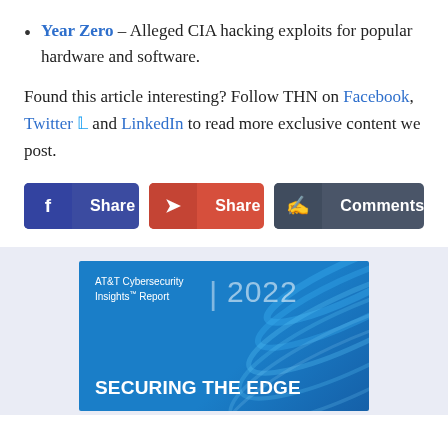Year Zero – Alleged CIA hacking exploits for popular hardware and software.
Found this article interesting? Follow THN on Facebook, Twitter and LinkedIn to read more exclusive content we post.
[Figure (screenshot): Three social sharing buttons: Facebook Share (blue), Share (red/orange), and Comments (dark grey)]
[Figure (illustration): AT&T Cybersecurity Insights Report 2022 – SECURING THE EDGE banner advertisement on blue background with abstract swirl lines]